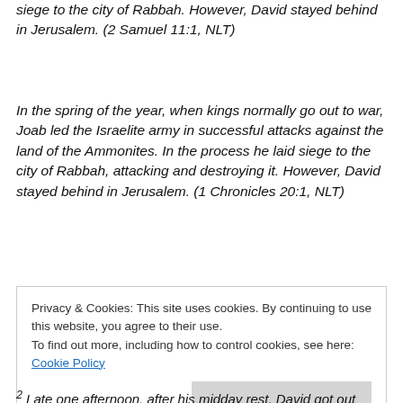siege to the city of Rabbah. However, David stayed behind in Jerusalem. (2 Samuel 11:1, NLT)
In the spring of the year, when kings normally go out to war, Joab led the Israelite army in successful attacks against the land of the Ammonites. In the process he laid siege to the city of Rabbah, attacking and destroying it. However, David stayed behind in Jerusalem. (1 Chronicles 20:1, NLT)
Second Samuel continues on to the story of David and Bathsheba. When he wasn't where he should have been,
Privacy & Cookies: This site uses cookies. By continuing to use this website, you agree to their use.
To find out more, including how to control cookies, see here: Cookie Policy
2 Late one afternoon, after his midday rest, David got out